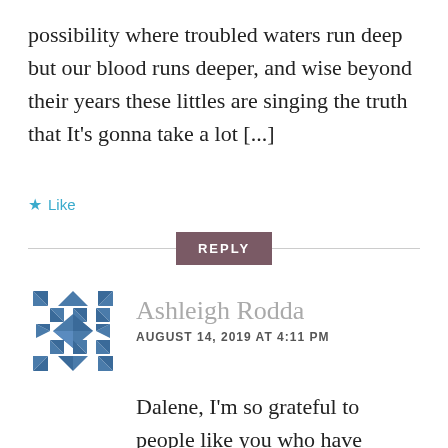possibility where troubled waters run deep but our blood runs deeper, and wise beyond their years these littles are singing the truth that It's gonna take a lot [...]
Like
REPLY
[Figure (illustration): Blue diamond pattern avatar icon for Ashleigh Rodda]
Ashleigh Rodda
AUGUST 14, 2019 AT 4:11 PM
Dalene, I'm so grateful to people like you who have dedicated your time to putting 'our' feelings/thoughts/contemplations into words – what an excellent and well